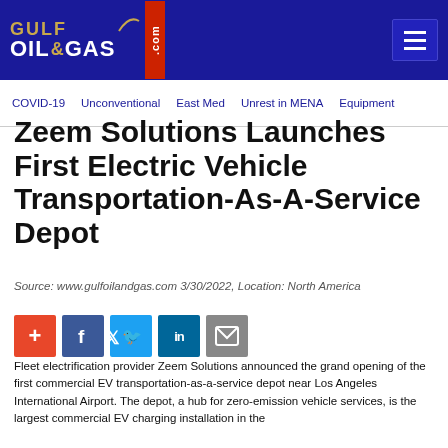Gulf Oil & Gas .com
COVID-19   Unconventional   East Med   Unrest in MENA   Equipment
Zeem Solutions Launches First Electric Vehicle Transportation-As-A-Service Depot
Source: www.gulfoilandgas.com 3/30/2022, Location: North America
Fleet electrification provider Zeem Solutions announced the grand opening of the first commercial EV transportation-as-a-service depot near Los Angeles International Airport. The depot, a hub for zero-emission vehicle services, is the largest commercial EV charging installation in the